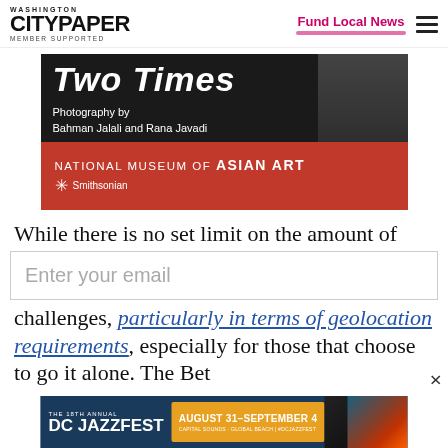Washington City Paper — MEMBER SUPPORTED | Fund Local News
[Figure (photo): Advertisement for National Museum of Asian Art Smithsonian — 'Two Times' Photography by Bahman Jalali and Rana Javadi]
While there is no set limit on the amount of challenges, particularly in terms of geolocation requirements, especially for those that choose to go it alone. The Bet
[Figure (screenshot): Email input field overlay with placeholder text 'Enter your email']
[Figure (photo): Advertisement for The 18th Annual DC Jazzfest — August 31–September 4, Capital Sounds Global Beach #DCJAZZFEST]